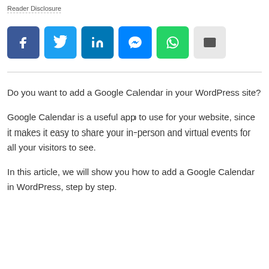Reader Disclosure
[Figure (infographic): Row of six social share buttons: Facebook (dark blue), Twitter (light blue), LinkedIn (dark blue), Messenger (blue), WhatsApp (green), Email (light grey)]
Do you want to add a Google Calendar in your WordPress site?
Google Calendar is a useful app to use for your website, since it makes it easy to share your in-person and virtual events for all your visitors to see.
In this article, we will show you how to add a Google Calendar in WordPress, step by step.